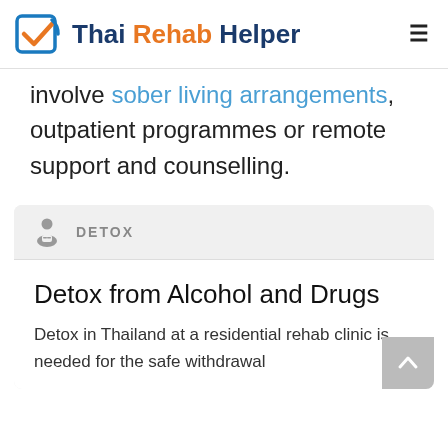Thai Rehab Helper
involve sober living arrangements, outpatient programmes or remote support and counselling.
DETOX
Detox from Alcohol and Drugs
Detox in Thailand at a residential rehab clinic is needed for the safe withdrawal